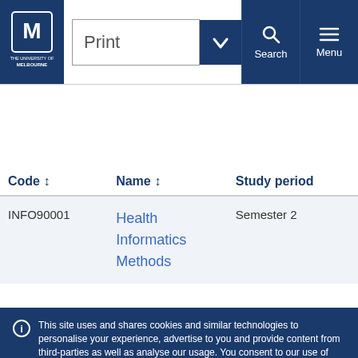[Figure (screenshot): University of Melbourne website header with logo, Print dropdown selector, Search and Menu buttons in dark navy blue]
| Code | Name | Study period |
| --- | --- | --- |
| INFO90001 | Health Informatics Methods | Semester 2 |
This site uses and shares cookies and similar technologies to personalise your experience, advertise to you and provide content from third-parties as well as analyse our usage. You consent to our use of such technologies by proceeding. You can change your mind or consent choices at any time. Visit our Privacy Statement for further information.
Accept cookies
Cookie Preferences